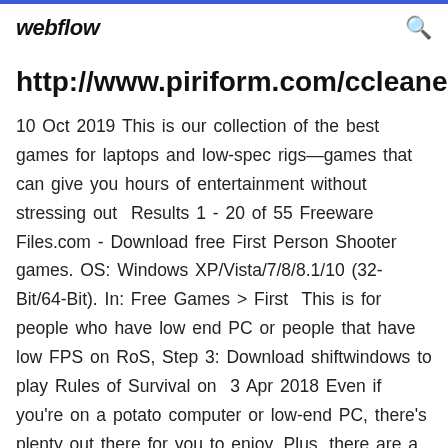webflow
http://www.piriform.com/ccleaner/dow
10 Oct 2019 This is our collection of the best games for laptops and low-spec rigs—games that can give you hours of entertainment without stressing out  Results 1 - 20 of 55 Freeware Files.com - Download free First Person Shooter games. OS: Windows XP/Vista/7/8/8.1/10 (32-Bit/64-Bit). In: Free Games > First  This is for people who have low end PC or people that have low FPS on RoS, Step 3: Download shiftwindows to play Rules of Survival on  3 Apr 2018 Even if you're on a potato computer or low-end PC, there's plenty out there for you to enjoy. Plus, there are a top